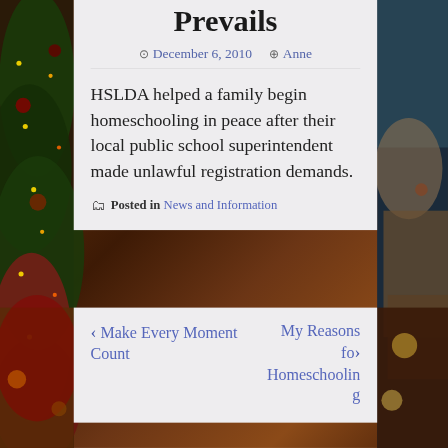Prevails
December 6, 2010   Anne
HSLDA helped a family begin homeschooling in peace after their local public school superintendent made unlawful registration demands.
Posted in News and Information
Make Every Moment Count
My Reasons fo Homeschooling